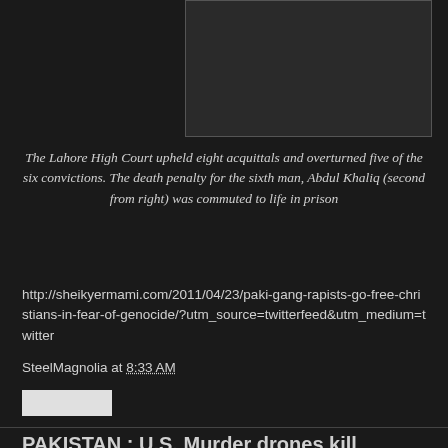[Figure (photo): Dark rectangular image area, appears to be a partially visible photograph with dark background]
The Lahore High Court upheld eight acquittals and overturned five of the six convictions. The death penalty for the sixth man, Abdul Khaliq (second from right) was commuted to life in prison
http://sheikyermami.com/2011/04/23/paki-gang-rapists-go-free-christians-in-fear-of-genocide/?utm_source=twitterfeed&utm_medium=twitter
SteelMagnolia at 8:33 AM
PAKISTAN : U.S. Murder drones kill